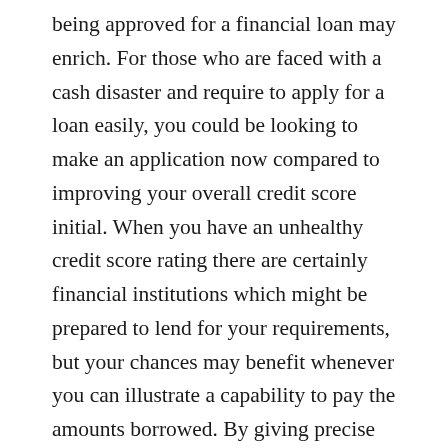being approved for a financial loan may enrich. For those who are faced with a cash disaster and require to apply for a loan easily, you could be looking to make an application now compared to improving your overall credit score initial. When you have an unhealthy credit score rating there are certainly financial institutions which might be prepared to lend for your requirements, but your chances may benefit whenever you can illustrate a capability to pay the amounts borrowed. By giving precise information through your tool, such as your income, outgoings and jobs data, loan providers could possibly be a lot more ready consider your application.
CAN AN ONLINE PAYDAY LOAN TAKE YOU TO LEGALS